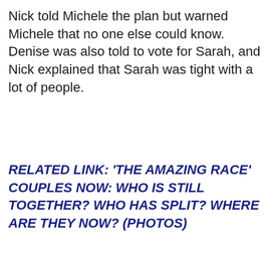Nick told Michele the plan but warned Michele that no one else could know. Denise was also told to vote for Sarah, and Nick explained that Sarah was tight with a lot of people.
RELATED LINK: 'THE AMAZING RACE' COUPLES NOW: WHO IS STILL TOGETHER? WHO HAS SPLIT? WHERE ARE THEY NOW? (PHOTOS)
ADVERTISEMENT